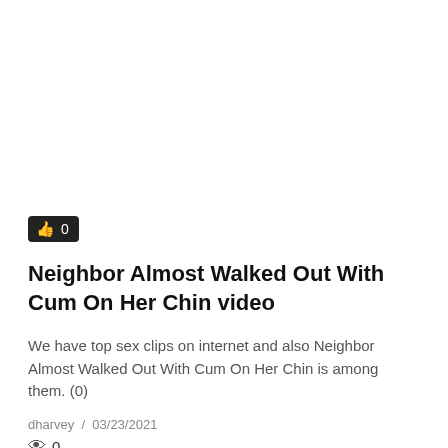[Figure (other): Like button badge showing thumbs up icon and count 0 on dark background]
Neighbor Almost Walked Out With Cum On Her Chin video
We have top sex clips on internet and also Neighbor Almost Walked Out With Cum On Her Chin is among them. (0)
dharvey  /  03/23/2021
👁 0
[Figure (photo): Broken image link showing 76c974681fc92bb6448866e11ead79cf.jpg]